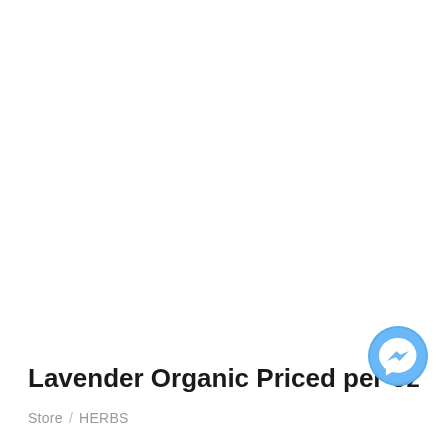Lavender Organic Priced per oz
Store / HERBS
[Figure (logo): Facebook Messenger chat button icon — blue circle with white lightning-bolt/chat bubble logo]